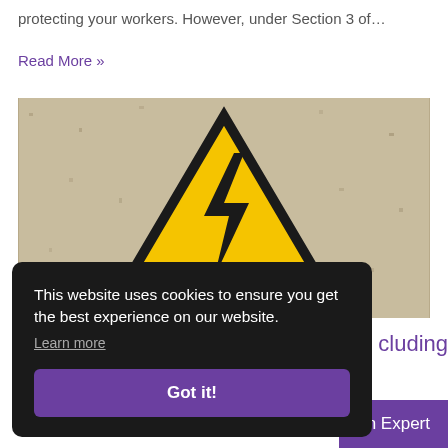protecting your workers. However, under Section 3 of…
Read More »
[Figure (photo): Yellow triangular electrical hazard warning sign with black lightning bolt on a concrete wall background]
cluding
This website uses cookies to ensure you get the best experience on our website.
Learn more
Got it!
an Expert
total of 142 workers were killed at work